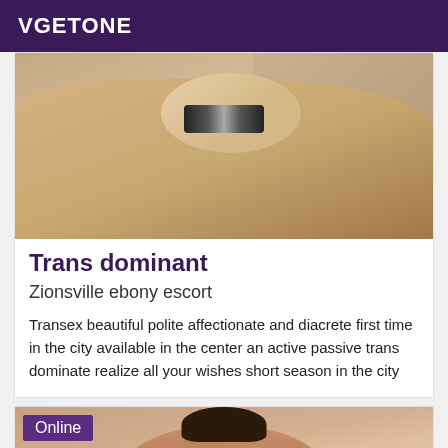VGETONE
[Figure (photo): Close-up photo of a person wearing a black and white striped bikini top, lying on sand.]
Trans dominant
Zionsville ebony escort
Transex beautiful polite affectionate and diacrete first time in the city available in the center an active passive trans dominate realize all your wishes short season in the city
[Figure (photo): Photo of a person with dark hair, showing bare shoulders, positioned centrally in the image with an 'Online' badge overlay.]